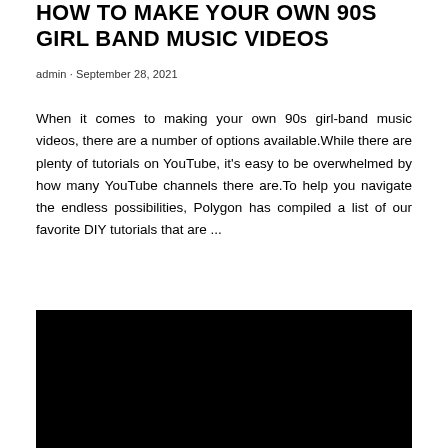HOW TO MAKE YOUR OWN 90S GIRL BAND MUSIC VIDEOS
admin · September 28, 2021
When it comes to making your own 90s girl-band music videos, there are a number of options available.While there are plenty of tutorials on YouTube, it's easy to be overwhelmed by how many YouTube channels there are.To help you navigate the endless possibilities, Polygon has compiled a list of our favorite DIY tutorials that are ...
[Figure (screenshot): A large black rectangle representing a video player or embedded video with no content visible.]